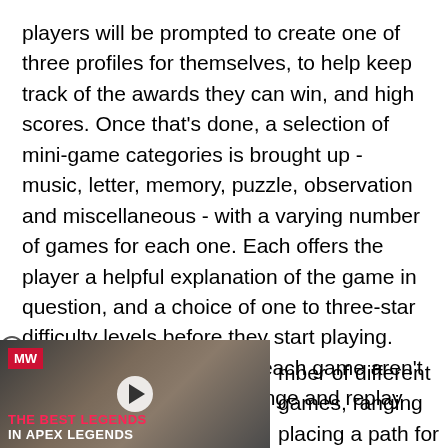players will be prompted to create one of three profiles for themselves, to help keep track of the awards they can win, and high scores. Once that's done, a selection of mini-game categories is brought up - music, letter, memory, puzzle, observation and miscellaneous - with a varying number of games for each one. Each offers the player a helpful explanation of the game in question, and a choice of one to three-star difficulty levels before they start playing. The difficulty changes for each game aren't a huge step, but for challenge and replay value they are welcome.
[Figure (screenshot): Video ad overlay showing 'THE BEST LEGENDS IN APEX LEGENDS' with MW logo badge in red, a play button in the center, and dark game imagery in the background.]
mber of different games, ranging placing a path for kittens to reat number of identikits with